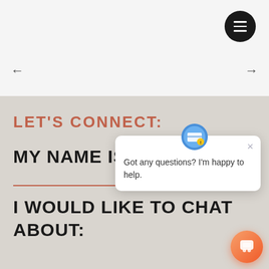[Figure (screenshot): Top navigation bar with hamburger menu button (dark circle with three white lines) on right, light gray background, left arrow on left side, right arrow on right side]
LET'S CONNECT:
MY NAME IS
I WOULD LIKE TO CHAT ABOUT:
[Figure (screenshot): Chat popup widget: avatar icon at top, close X button, text 'Got any questions? I'm happy to help.' and orange/red chat FAB button in bottom right corner]